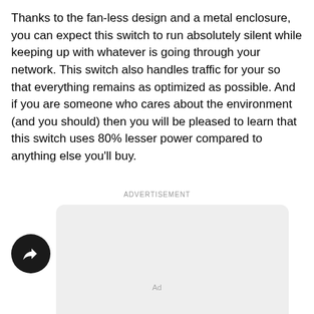Thanks to the fan-less design and a metal enclosure, you can expect this switch to run absolutely silent while keeping up with whatever is going through your network. This switch also handles traffic for your so that everything remains as optimized as possible. And if you are someone who cares about the environment (and you should) then you will be pleased to learn that this switch uses 80% lesser power compared to anything else you'll buy.
ADVERTISEMENT
[Figure (other): Advertisement placeholder box (light gray rounded rectangle) with a share/export button (dark circle with share icon) to the left]
Ad